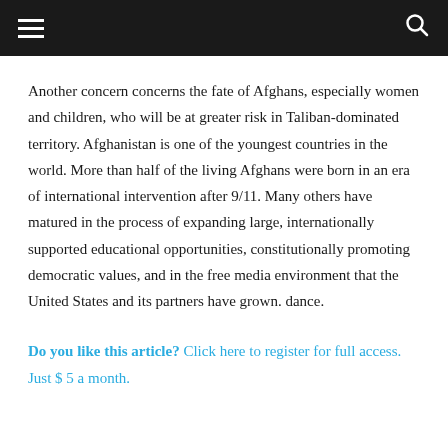[Navigation bar with hamburger menu and search icon]
Another concern concerns the fate of Afghans, especially women and children, who will be at greater risk in Taliban-dominated territory. Afghanistan is one of the youngest countries in the world. More than half of the living Afghans were born in an era of international intervention after 9/11. Many others have matured in the process of expanding large, internationally supported educational opportunities, constitutionally promoting democratic values, and in the free media environment that the United States and its partners have grown. dance.
Do you like this article? Click here to register for full access. Just $ 5 a month.